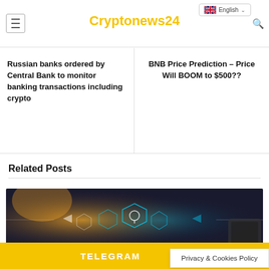Cryptonews24
Russian banks ordered by Central Bank to monitor banking transactions including crypto
BNB Price Prediction – Price Will BOOM to $500??
Related Posts
[Figure (photo): Technology digital concept image with glowing hexagonal shapes and light beams on dark background]
TELEGRAM
Privacy & Cookies Policy